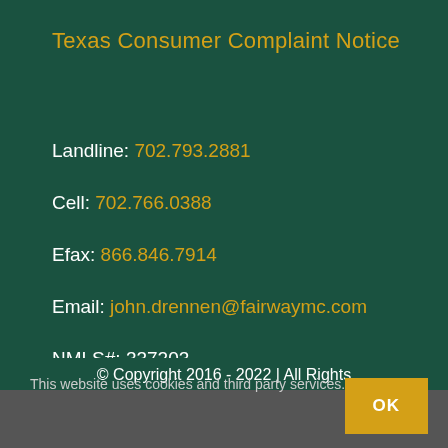Texas Consumer Complaint Notice
Landline: 702.793.2881
Cell: 702.766.0388
Efax: 866.846.7914
Email: john.drennen@fairwaymc.com
NMLS#: 337203
© Copyright 2016 - 2022 | All Rights
This website uses cookies and third party services.